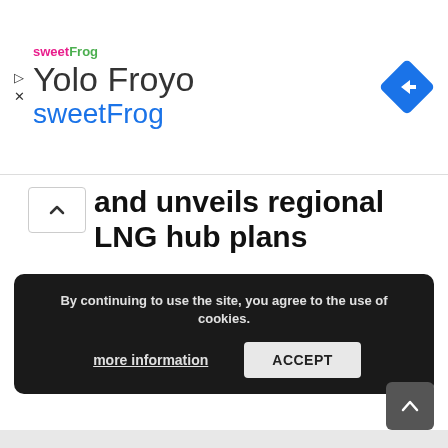[Figure (screenshot): Ad banner for Yolo Froyo sweetFrog with logo, title text, and navigation diamond icon]
and unveils regional LNG hub plans
A US LNG supplier reportedly says it will export to a Polish floating, storage and re-gasification installation planned to be
By Energy Reporters | 25.09.2019
By continuing to use the site, you agree to the use of cookies.
more information   ACCEPT